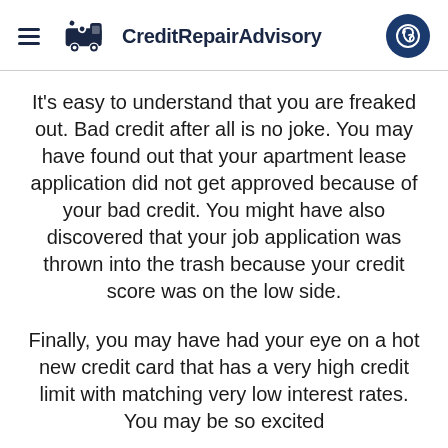CreditRepairAdvisory
It’s easy to understand that you are freaked out. Bad credit after all is no joke. You may have found out that your apartment lease application did not get approved because of your bad credit. You might have also discovered that your job application was thrown into the trash because your credit score was on the low side.
Finally, you may have had your eye on a hot new credit card that has a very high credit limit with matching very low interest rates. You may be so excited